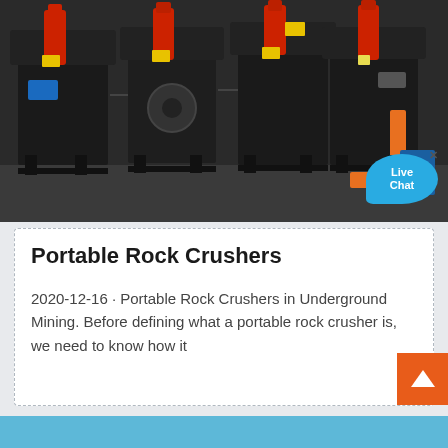[Figure (photo): Photo of portable rock crusher machines — black metal frames with red hydraulic cylinders on top, multiple units lined up in an industrial setting. A Live Chat bubble overlay is visible in the bottom-right corner of the image.]
Portable Rock Crushers
2020-12-16 · Portable Rock Crushers in Underground Mining. Before defining what a portable rock crusher is, we need to know how it